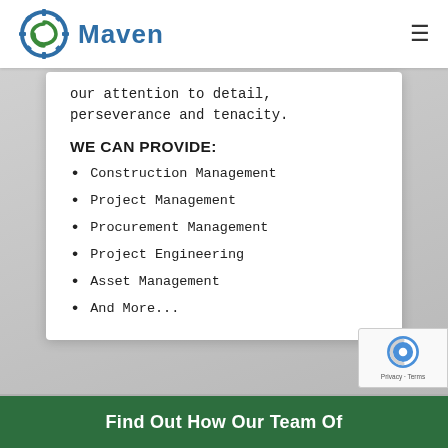[Figure (logo): Maven company logo with green gear icon and blue Maven wordmark]
our attention to detail, perseverance and tenacity.
WE CAN PROVIDE:
Construction Management
Project Management
Procurement Management
Project Engineering
Asset Management
And More...
Find Out How Our Team Of